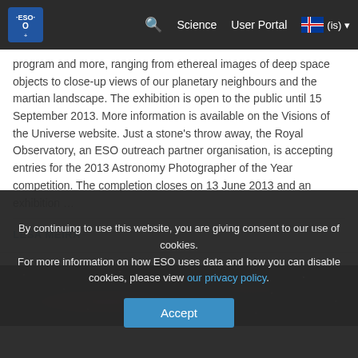ESO — Science | User Portal | (is)
program and more, ranging from ethereal images of deep space objects to close-up views of our planetary neighbours and the martian landscape. The exhibition is open to the public until 15 September 2013. More information is available on the Visions of the Universe website. Just a stone's throw away, the Royal Observatory, an ESO outreach partner organisation, is accepting entries for the 2013 Astronomy Photographer of the Year competition. The completion closes on 13 June 2013 and an exhibition …
LESA MEIRA
[Figure (photo): Dark deep space image, mostly black with faint reddish/purple nebula]
By continuing to use this website, you are giving consent to our use of cookies.
For more information on how ESO uses data and how you can disable cookies, please view our privacy policy.